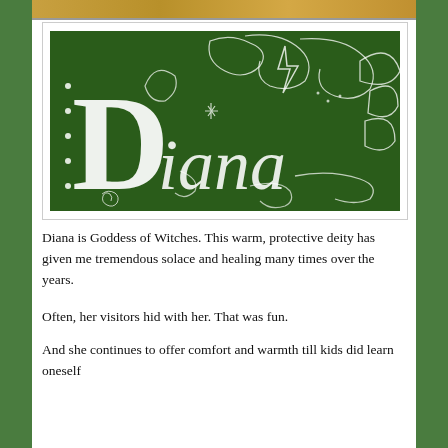[Figure (illustration): Dark green background illustration with white hand-drawn text 'Diana' in decorative lettering surrounded by floral and botanical motifs, stars, leaves, and swirling designs. A small snail or spiral motif is visible in the lower left corner.]
Diana is Goddess of Witches. This warm, protective deity has given me tremendous solace and healing many times over the years.
Often, her visitors hid with her. That was fun.
And she continues to offer comfort and warmth till kids did learn oneself